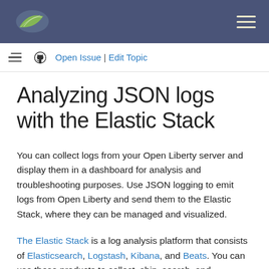Open Liberty | Open Issue | Edit Topic
Analyzing JSON logs with the Elastic Stack
You can collect logs from your Open Liberty server and display them in a dashboard for analysis and troubleshooting purposes. Use JSON logging to emit logs from Open Liberty and send them to the Elastic Stack, where they can be managed and visualized.
The Elastic Stack is a log analysis platform that consists of Elasticsearch, Logstash, Kibana, and Beats. You can use these products to collect, ship, search, and